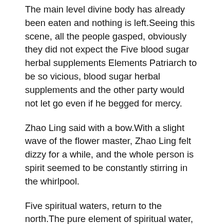The main level divine body has already been eaten and nothing is left.Seeing this scene, all the people gasped, obviously they did not expect the Five blood sugar herbal supplements Elements Patriarch to be so vicious, blood sugar herbal supplements and the other party would not let go even if he begged for mercy.
Zhao Ling said with a bow.With a slight wave of the flower master, Zhao Ling felt dizzy for a while, and the whole person is spirit seemed to be constantly stirring in the whirlpool.
Five spiritual waters, return to the north.The pure element of spiritual water, how high can your blood sugar be like a well behaved child, slowly went to the position where she belonged, without the slightest resistance, its arrival made the Hongmeng Tree tremble slightly, glowing with youthful brilliance.
Sure enough, Zhao Ling was very pleasantly surprised, and led the way one of the t t... Zhao Ling is set to be a t...